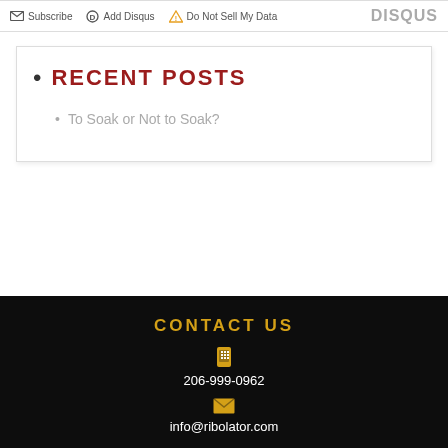Subscribe  Add Disqus  Do Not Sell My Data  DISQUS
RECENT POSTS
To Soak or Not to Soak?
CONTACT US
206-999-0962
info@ribolator.com